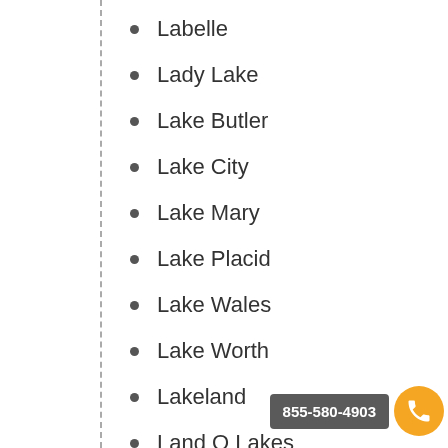Labelle
Lady Lake
Lake Butler
Lake City
Lake Mary
Lake Placid
Lake Wales
Lake Worth
Lakeland
Land O Lakes
855-580-4903